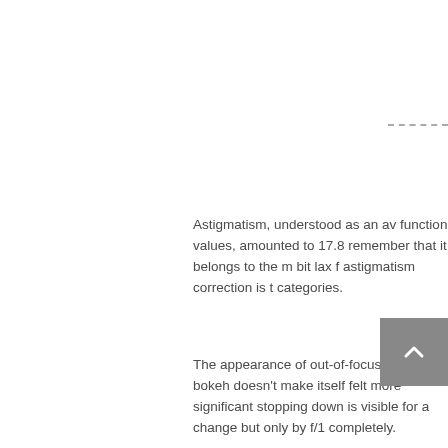Astigmatism, understood as an av function values, amounted to 17.8 remember that it belongs to the m bit lax f astigmatism correction is t categories.
The appearance of out-of-focus im ring bokeh doesn't make itself felt more significant stopping down is visible for a change but only by f/1 completely.